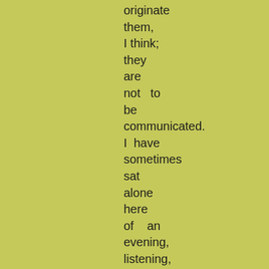originate
them,
I think;
they
are
not   to
be
communicated.
I  have
sometimes
sat
alone
here
of    an
evening,
listening,
until    I
have
made